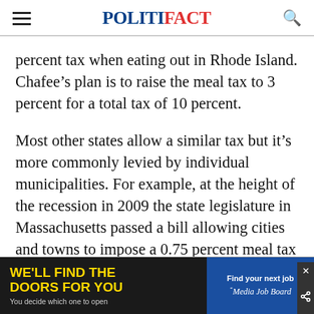POLITIFACT
percent tax when eating out in Rhode Island. Chafee’s plan is to raise the meal tax to 3 percent for a total tax of 10 percent.
Most other states allow a similar tax but it’s more commonly levied by individual municipalities. For example, at the height of the recession in 2009 the state legislature in Massachusetts passed a bill allowing cities and towns to impose a 0.75 percent meal tax on top of the state’s 6.25 percent sales tax. By th follow
[Figure (other): Advertisement banner: WE’LL FIND THE DOORS FOR YOU / You decide which one to open / Find your next job / Media Job Board]